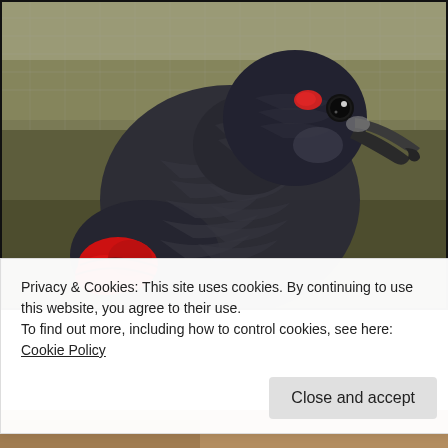[Figure (photo): A dark-feathered parrot (Pesquet's parrot / Dracula parrot) with black and grey plumage, a red patch on the wing, and a red marking near the eye. The bird is shown in profile facing right, perched in front of a blurred olive-green background that appears to be an aviary or enclosure with netting.]
Privacy & Cookies: This site uses cookies. By continuing to use this website, you agree to their use.
To find out more, including how to control cookies, see here: Cookie Policy
Close and accept
[Figure (photo): Bottom strip of a second photo partially visible at the bottom of the page.]